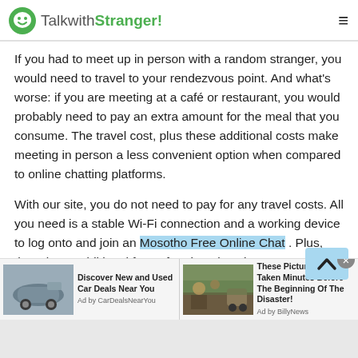TalkwithStranger!
If you had to meet up in person with a random stranger, you would need to travel to your rendezvous point. And what's worse: if you are meeting at a café or restaurant, you would probably need to pay an extra amount for the meal that you consume. The travel cost, plus these additional costs make meeting in person a less convenient option when compared to online chatting platforms.
With our site, you do not need to pay for any travel costs. All you need is a stable Wi-Fi connection and a working device to log onto and join an Mosotho Free Online Chat . Plus, there is no additional fees of registration since our
[Figure (screenshot): Advertisement bar with two ad items: 'Discover New and Used Car Deals Near You' (Ad by CarDealsNearYou) and 'These Pictures Was Taken Minutes Before The Beginning Of The Disaster!' (Ad by BillyNews), with a close button.]